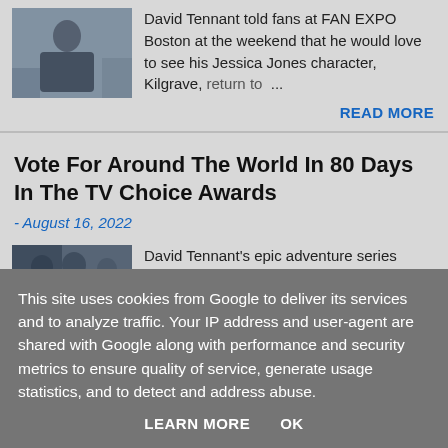[Figure (photo): Thumbnail photo of David Tennant sitting and reading]
David Tennant told fans at FAN EXPO Boston at the weekend that he would love to see his Jessica Jones character, Kilgrave, return to ...
READ MORE
Vote For Around The World In 80 Days In The TV Choice Awards
- August 16, 2022
[Figure (photo): Thumbnail photo of David Tennant in Around The World In 80 Days]
David Tennant's epic adventure series Around The World In 80 Days has been shortlisted for
This site uses cookies from Google to deliver its services and to analyze traffic. Your IP address and user-agent are shared with Google along with performance and security metrics to ensure quality of service, generate usage statistics, and to detect and address abuse.
LEARN MORE    OK